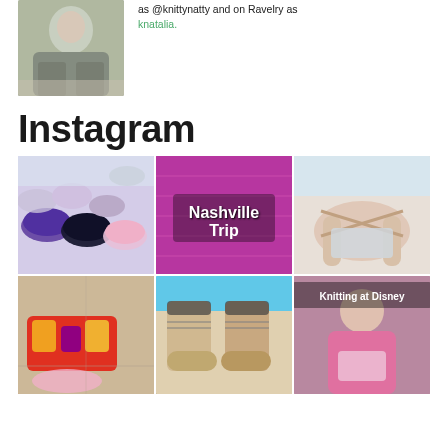[Figure (photo): Person wearing a grey knitted sweater, seated outdoors with autumn leaves on ground]
as @knittynatty and on Ravelry as knatalia.
Instagram
[Figure (photo): Skeins of yarn in purple, navy, tan, and pink colors arranged on a white surface]
[Figure (photo): Purple/magenta knitted fabric with text overlay reading 'Nashville Trip']
[Figure (photo): Person knitting, close-up of hands working on stitches outdoors]
[Figure (photo): Orange and dark drinks/juices in small glasses on a red tray, with pink knitting project]
[Figure (photo): Pair of heathered tan/brown socks with dark stripe detail]
[Figure (photo): Person knitting at Disney with text overlay 'Knitting at Disney']